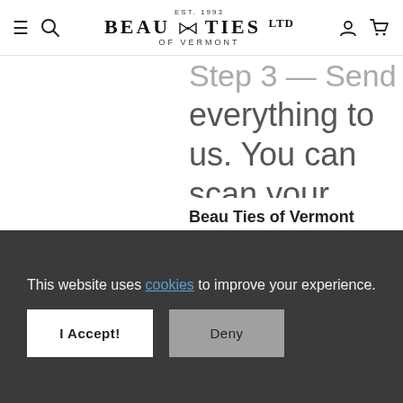EST. 1993 BEAU TIES LTD OF VERMONT
everything to us. You can scan your work and send it to here, or mail to:
Beau Ties of Vermont
This website uses cookies to improve your experience.
I Accept!
Deny